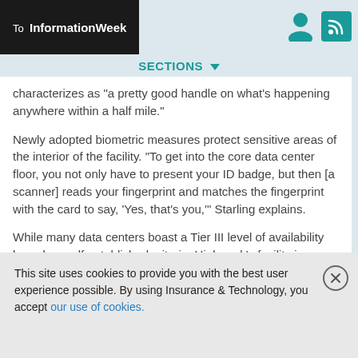To InformationWeek
SECTIONS
characterizes as "a pretty good handle on what's happening anywhere within a half mile."
Newly adopted biometric measures protect sensitive areas of the interior of the facility. "To get into the core data center floor, you not only have to present your ID badge, but then [a scanner] reads your fingerprint and matches the fingerprint with the card to say, 'Yes, that's you,'" Starling explains.
While many data centers boast a Tier III level of availability based on self-established criteria, Highmark's facility is one of less than 20 nationwide independently certified by The
This site uses cookies to provide you with the best user experience possible. By using Insurance & Technology, you accept our use of cookies.